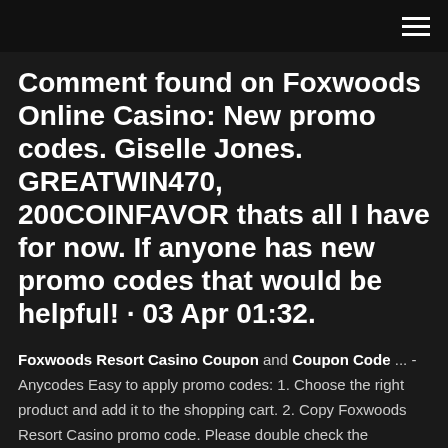hamburger menu icon
Comment found on Foxwoods Online Casino: New promo codes. Giselle Jones. GREATWIN470, 200COINFAVOR thats all I have for now. If anyone has new promo codes that would be helpful! · 03 Apr 01:32.
Foxwoods Resort Casino Coupon and Coupon Code ... - Anycodes Easy to apply promo codes: 1. Choose the right product and add it to the shopping cart. 2. Copy Foxwoods Resort Casino promo code. Please double check the restriction of the promo code, if it has. 3. Paste Foxwoods Resort Casino promo code to the right place...